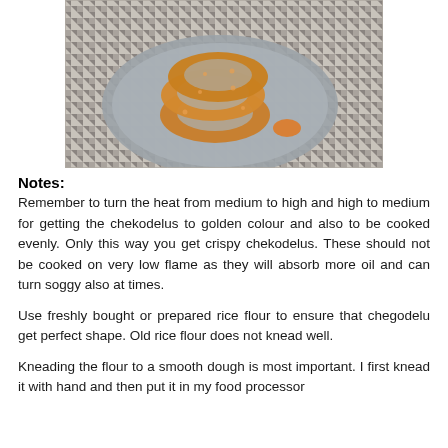[Figure (photo): Photo of golden fried chekodelus (ring-shaped fried snacks) stacked on a gray plate, placed on a houndstooth patterned surface]
Notes:
Remember to turn the heat from medium to high and high to medium for getting the chekodelus to golden colour and also to be cooked evenly. Only this way you get crispy chekodelus. These should not be cooked on very low flame as they will absorb more oil and can turn soggy also at times.
Use freshly bought or prepared rice flour to ensure that chegodelu get perfect shape. Old rice flour does not knead well.
Kneading the flour to a smooth dough is most important. I first knead it with hand and then put it in my food processor